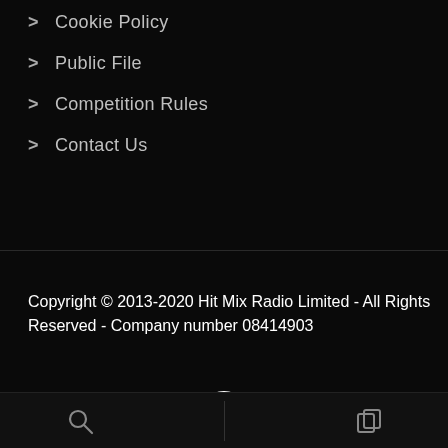> Cookie Policy
> Public File
> Competition Rules
> Contact Us
Copyright © 2013-2020 Hit Mix Radio Limited - All Rights Reserved - Company number 08414903
[Figure (illustration): Facebook icon - white circle with letter f in the center]
[Figure (illustration): Partial reCAPTCHA badge visible in bottom right corner]
[Figure (illustration): Bottom navigation bar with search icon on left, vertical divider in center, and copy/layers icon on right]